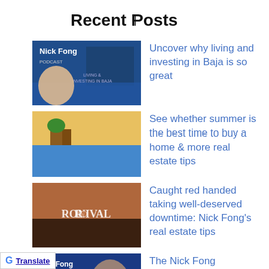Recent Posts
[Figure (screenshot): Thumbnail for Nick Fong podcast about living and investing in Baja]
Uncover why living and investing in Baja is so great
[Figure (photo): Coastal sunset photo thumbnail]
See whether summer is the best time to buy a home & more real estate tips
[Figure (photo): Ronival desert landscape photo thumbnail]
Caught red handed taking well-deserved downtime: Nick Fong's real estate tips
[Figure (screenshot): Nick Fong Podcast SparkOffer thumbnail]
The Nick Fong PODCASTSparkOffer: A new way to sell presented on The Nick Fong PODCAST
[Figure (photo): Real estate coastal property thumbnail]
Becoming a Real Estate agent resented by Nick Fong